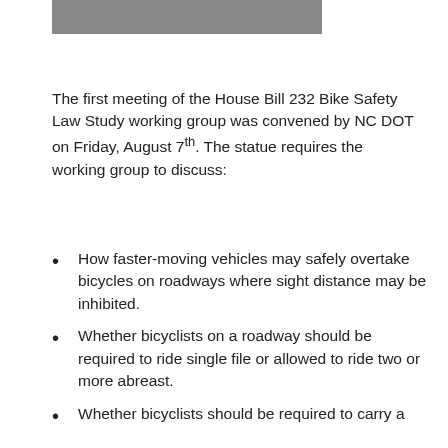[Figure (photo): Partial photo strip visible at top of page, showing a gray/dark image crop]
The first meeting of the House Bill 232 Bike Safety Law Study working group was convened by NC DOT on Friday, August 7th. The statue requires the working group to discuss:
How faster-moving vehicles may safely overtake bicycles on roadways where sight distance may be inhibited.
Whether bicyclists on a roadway should be required to ride single file or allowed to ride two or more abreast.
Whether bicyclists should be required to carry a